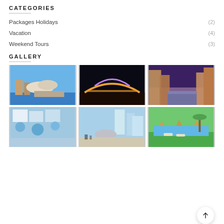CATEGORIES
Packages Holidays (2)
Vacation (4)
Weekend Tours (3)
GALLERY
[Figure (photo): Sydney Opera House]
[Figure (photo): Bridge illuminated at night]
[Figure (photo): Venice canal at dusk]
[Figure (photo): Aerial view of city with pools]
[Figure (photo): Cloud Gate Chicago skyline]
[Figure (photo): Tropical resort pool with thatched umbrellas]